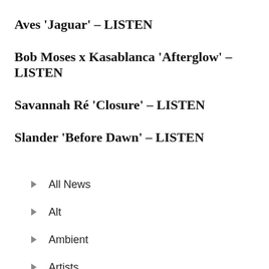Aves 'Jaguar' – LISTEN
Bob Moses x Kasablanca 'Afterglow' – LISTEN
Savannah Ré 'Closure' – LISTEN
Slander 'Before Dawn' – LISTEN
All News
Alt
Ambient
Artists
Bossa Nova